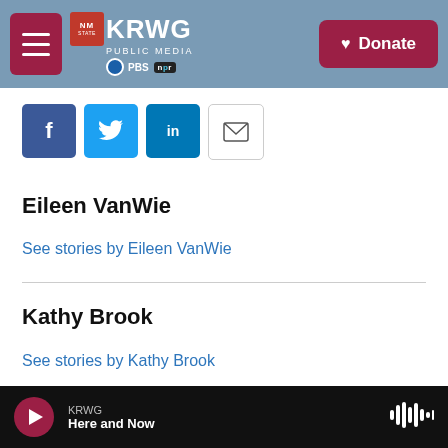KRWG PUBLIC MEDIA | Donate
[Figure (other): Social share icons: Facebook, Twitter, LinkedIn, Email]
Eileen VanWie
See stories by Eileen VanWie
Kathy Brook
See stories by Kathy Brook
KRWG Here and Now